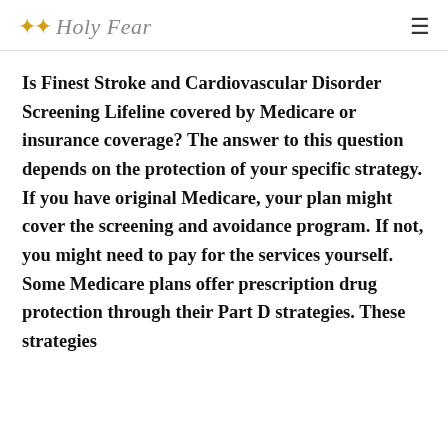✦✦ Holy Fear
Is Finest Stroke and Cardiovascular Disorder Screening Lifeline covered by Medicare or insurance coverage? The answer to this question depends on the protection of your specific strategy. If you have original Medicare, your plan might cover the screening and avoidance program. If not, you might need to pay for the services yourself. Some Medicare plans offer prescription drug protection through their Part D strategies. These strategies